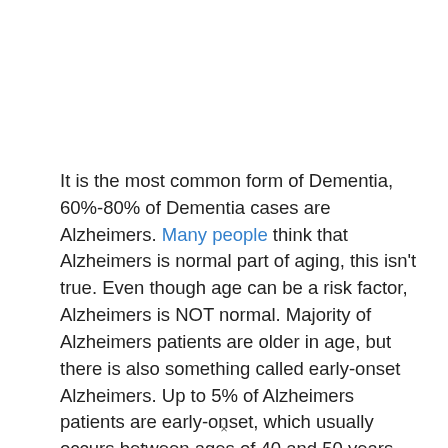It is the most common form of Dementia, 60%-80% of Dementia cases are Alzheimers. Many people think that Alzheimers is normal part of aging, this isn't true. Even though age can be a risk factor, Alzheimers is NOT normal. Majority of Alzheimers patients are older in age, but there is also something called early-onset Alzheimers. Up to 5% of Alzheimers patients are early-onset, which usually occurs between ages of 40 and 50 years old. Alzheimers has no cure and gradually
×